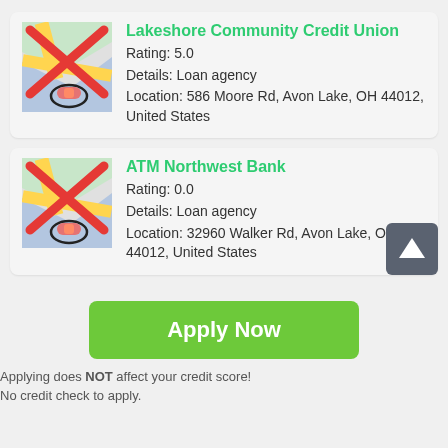[Figure (other): Listing card for Lakeshore Community Credit Union with a map icon (crossed out with red X), showing rating, details, and location.]
[Figure (other): Listing card for ATM Northwest Bank with a map icon (crossed out with red X), showing rating, details, and location. A scroll-up button overlaps the bottom right.]
Apply Now
Applying does NOT affect your credit score! No credit check to apply.